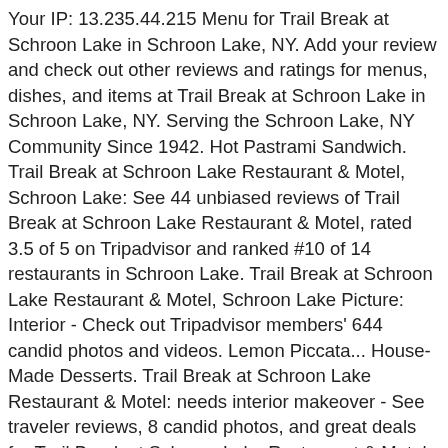Your IP: 13.235.44.215 Menu for Trail Break at Schroon Lake in Schroon Lake, NY. Add your review and check out other reviews and ratings for menus, dishes, and items at Trail Break at Schroon Lake in Schroon Lake, NY. Serving the Schroon Lake, NY Community Since 1942. Hot Pastrami Sandwich. Trail Break at Schroon Lake Restaurant & Motel, Schroon Lake: See 44 unbiased reviews of Trail Break at Schroon Lake Restaurant & Motel, rated 3.5 of 5 on Tripadvisor and ranked #10 of 14 restaurants in Schroon Lake. Trail Break at Schroon Lake Restaurant & Motel, Schroon Lake Picture: Interior - Check out Tripadvisor members' 644 candid photos and videos. Lemon Piccata... House-Made Desserts. Trail Break at Schroon Lake Restaurant & Motel: needs interior makeover - See traveler reviews, 8 candid photos, and great deals for Trail Break at Schroon Lake Restaurant & Motel at Tripadvisor. . If you are on a personal connection, like at home, you can run an anti-virus scan on your device to make sure it is not infected with malware. Be entered in a drawing to win $500 on 1/1. We provide our guests